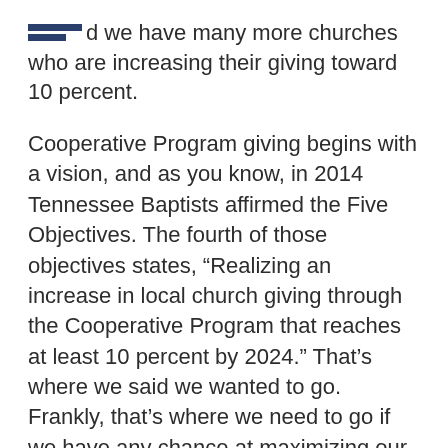[redacted] d we have many more churches who are increasing their giving toward 10 percent.
Cooperative Program giving begins with a vision, and as you know, in 2014 Tennessee Baptists affirmed the Five Objectives. The fourth of those objectives states, “Realizing an increase in local church giving through the Cooperative Program that reaches at least 10 percent by 2024.” That’s where we said we wanted to go. Frankly, that’s where we need to go if we have any chance at maximizing our gospel opportunities in Tennessee and around the world. Your Cooperative Program dollars are missions and ministry.